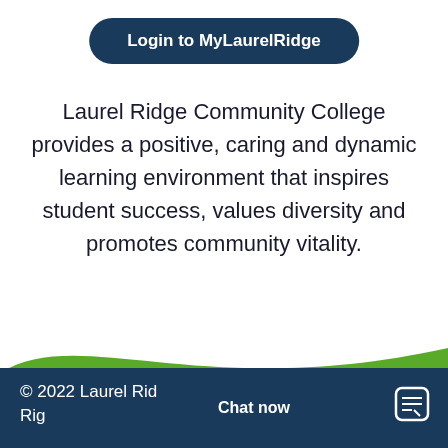[Figure (other): Dark navy blue rounded rectangle button labeled 'Login to MyLaurelRidge']
Laurel Ridge Community College provides a positive, caring and dynamic learning environment that inspires student success, values diversity and promotes community vitality.
[Figure (illustration): Decorative wave graphic with dark navy and green swooping shapes forming the page footer background]
© 2022 Laurel Ridge Community College. All Rights Reserved.
Chat now